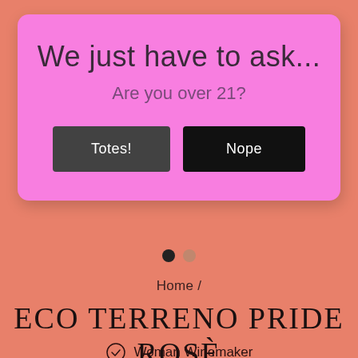We just have to ask...
Are you over 21?
Totes!
Nope
Home /
ECO TERRENO PRIDE ROSÈ
Woman Winemaker
Natural Wine